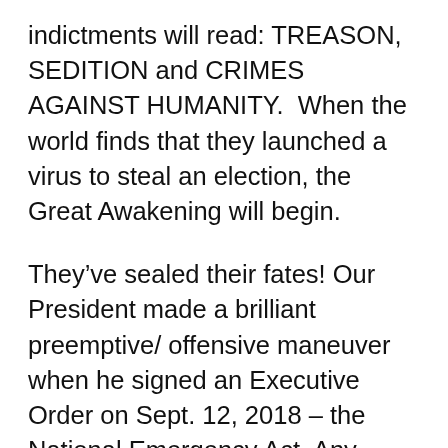indictments will read: TREASON, SEDITION and CRIMES AGAINST HUMANITY.  When the world finds that they launched a virus to steal an election, the Great Awakening will begin.
They've sealed their fates! Our President made a brilliant preemptive/ offensive maneuver when he signed an Executive Order on Sept. 12, 2018 – the National Emergency Act. Any foreign or domestic interference in our National Elections carried severe consequences – High Treason and asset seizure/forfeiture for those who deliberately aided in the execution and dissemination of misleading propaganda